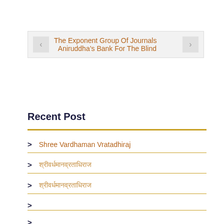[Figure (screenshot): Navigation widget with left arrow button, two lines of orange text links ('The Exponent Group Of Journals' and 'Aniruddha’s Bank For The Blind') and a right arrow button on a light gray background.]
Recent Post
> Shree Vardhaman Vratadhiraj
> [Devanagari text]
> [Devanagari text]
>
>